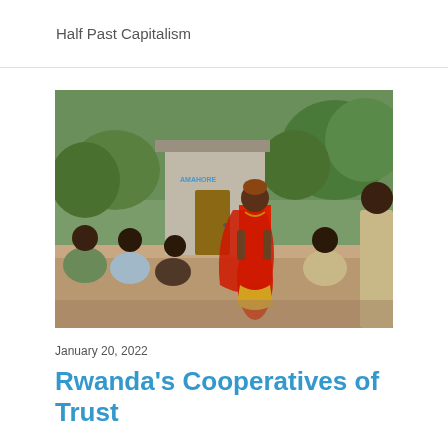Half Past Capitalism
[Figure (photo): A woman in a red garment stands and speaks to a group of men seated outdoors in front of a small concrete building with a wooden door, surrounded by green vegetation. The scene appears to be a community meeting in Rwanda.]
January 20, 2022
Rwanda's Cooperatives of Trust